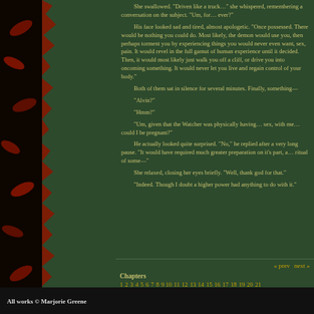She swallowed. "Driven like a truck…" she whispered, remembering a conversation on the subject. "Um, for… ever?"
His face looked sad and tired, almost apologetic. "Once possessed. There would be nothing you could do. Most likely, the demon would use you, then perhaps torment you by experiencing things you would never even want, sex, pain. It would revel in the full gamut of human experience until it decided. Then, it would most likely just walk you off a cliff, or drive you into oncoming something. It would never let you live and regain control of your body."
Both of them sat in silence for several minutes. Finally, something—
"Alvin?"
"Hmm?"
"Um, given that the Watcher was physically having… sex, with me… could I be pregnant?"
He actually looked quite surprised. "No," he replied after a very long pause. "It would have required much greater preparation on it's part, a… ritual of some—"
She relaxed, closing her eyes briefly. "Well, thank god for that."
"Indeed. Though I doubt a higher power had anything to do with it."
« prev  next »
Chapters
1 2 3 4 5 6 7 8 9 10 11 12 13 14 15 16 17 18 19 20 21
All works © Marjorie Greene